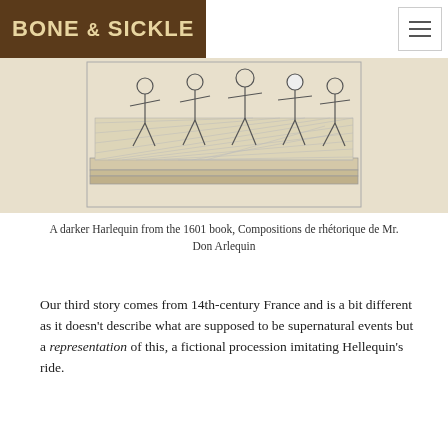BONE & SICKLE
[Figure (illustration): A sketch illustration showing Harlequin figures on a stage or platform, drawn in a line-art style with hatching, depicting multiple costumed figures]
A darker Harlequin from the 1601 book, Compositions de rhétorique de Mr. Don Arlequin
Our third story comes from 14th-century France and is a bit different as it doesn't describe what are supposed to be supernatural events but a representation of this, a fictional procession imitating Hellequin's ride.
The procession in this text takes the form of a charivari, a sort of parade with participants noisily